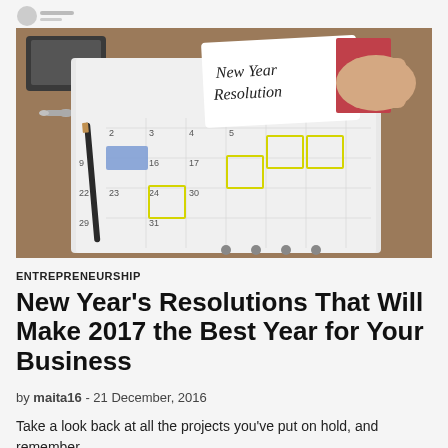[Figure (photo): A photo of an open planner/calendar on a desk with a hand holding a card that reads 'New Year Resolution' in cursive writing. A pen is visible on the calendar, and some dates are highlighted with yellow boxes. Keys are visible in the background.]
ENTREPRENEURSHIP
New Year's Resolutions That Will Make 2017 the Best Year for Your Business
by maita16 - 21 December, 2016
Take a look back at all the projects you've put on hold, and remember